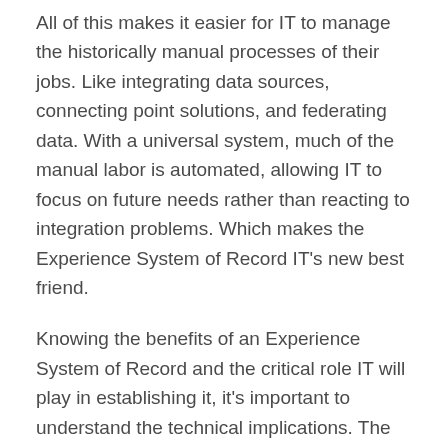All of this makes it easier for IT to manage the historically manual processes of their jobs. Like integrating data sources, connecting point solutions, and federating data. With a universal system, much of the manual labor is automated, allowing IT to focus on future needs rather than reacting to integration problems. Which makes the Experience System of Record IT's new best friend.
Knowing the benefits of an Experience System of Record and the critical role IT will play in establishing it, it's important to understand the technical implications. The following sections address these issues for IT professionals specifically, offering answers to common questions and more detail about how the Experience